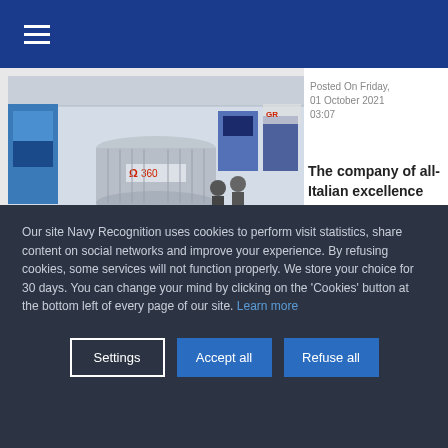≡
[Figure (photo): Exhibition hall photo showing a large cylindrical radar/sensor device labeled with the Omega 360 logo (Ω 360) on display at a trade show, with people walking in the background and various display screens visible.]
Posted On Friday, 01 October 2021 03:07
The company of all-Italian excellence
Our site Navy Recognition uses cookies to perform visit statistics, share content on social networks and improve your experience. By refusing cookies, some services will not function properly. We store your choice for 30 days. You can change your mind by clicking on the 'Cookies' button at the bottom left of every page of our site. Learn more
Settings
Accept all
Refuse all